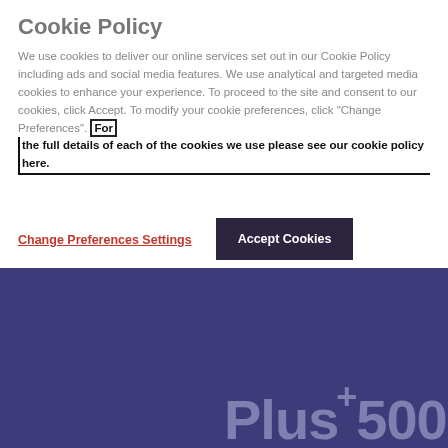Cookie Policy
We use cookies to deliver our online services set out in our Cookie Policy including ads and social media features. We use analytical and targeted media cookies to enhance your experience. To proceed to the site and consent to our cookies, click Accept. To modify your cookie preferences, click "Change Preferences". For the full details of each of the cookies we use please see our cookie policy here.
Change Preferences Settings
Accept Cookies
[Figure (logo): Plus500 logo in muted purple/grey color on dark navy/purple background]